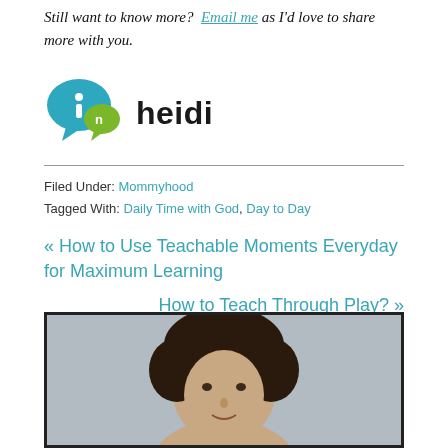Still want to know more? Email me as I'd love to share more with you.
[Figure (logo): In Heidi logo with speech bubble icons in teal and green, followed by bold text 'heidi']
Filed Under: Mommyhood
Tagged With: Daily Time with God, Day to Day
« How to Use Teachable Moments Everyday for Maximum Learning
How to Teach Through Play? »
[Figure (photo): Portrait photo of a person with curly dark hair against a grey background, partially visible]